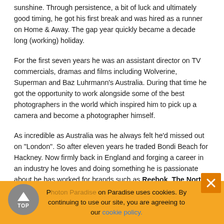sunshine. Through persistence, a bit of luck and ultimately good timing, he got his first break and was hired as a runner on Home & Away. The gap year quickly became a decade long (working) holiday.
For the first seven years he was an assistant director on TV commercials, dramas and films including Wolverine, Superman and Baz Luhrmann's Australia. During that time he got the opportunity to work alongside some of the best photographers in the world which inspired him to pick up a camera and become a photographer himself.
As incredible as Australia was he always felt he'd missed out on "London". So after eleven years he traded Bondi Beach for Hackney. Now firmly back in England and forging a career in an industry he loves and doing something he is passionate about he has worked for brands such as Reebok, The North Face, Puma, Gillette, Stand Up to Cancer and Fred Perry to name a few.
Inspired by his time spent on film sets and with an aesthetic preference for the bold, clean and simplistic, he produces photos that engage and tell a story in a single frame.
Photon Paradise uses cookies. By continuing to use our site, you are agreeing to our cookie policy.